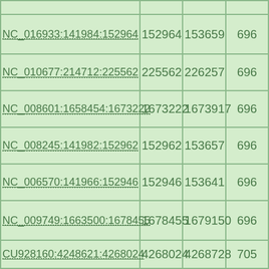|  |  |  |  |
| --- | --- | --- | --- |
|  |  |  |  |
| NC_016933:141984:152964 | 152964 | 153659 | 696 |
| NC_010677:214712:225562 | 225562 | 226257 | 696 |
| NC_008601:1658454:1673222 | 1673222 | 1673917 | 696 |
| NC_008245:141982:152962 | 152962 | 153657 | 696 |
| NC_006570:141966:152946 | 152946 | 153641 | 696 |
| NC_009749:1663500:1678455 | 1678455 | 1679150 | 696 |
| CU928160:4248621:4268024 | 4268024 | 4268728 | 705 |